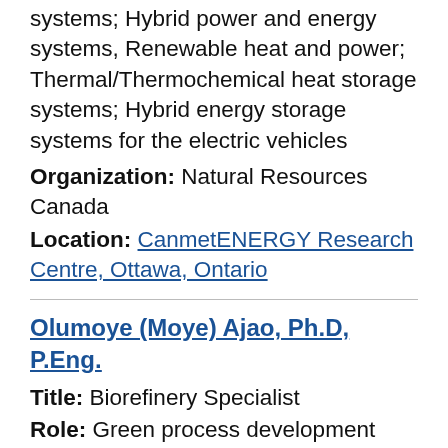systems; Hybrid power and energy systems, Renewable heat and power; Thermal/Thermochemical heat storage systems; Hybrid energy storage systems for the electric vehicles
Organization: Natural Resources Canada
Location: CanmetENERGY Research Centre, Ottawa, Ontario
Olumoye (Moye) Ajao, Ph.D, P.Eng.
Title: Biorefinery Specialist
Role: Green process development Energy production and conversion systems
Biorefining technologies Techno-economic